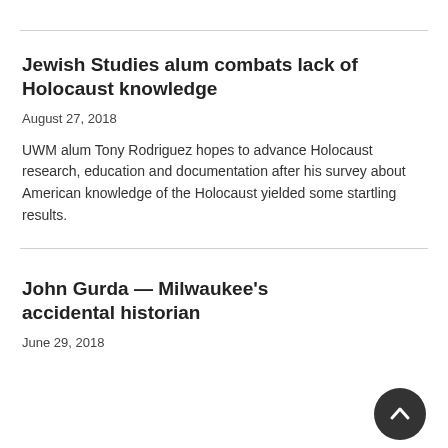Jewish Studies alum combats lack of Holocaust knowledge
August 27, 2018
UWM alum Tony Rodriguez hopes to advance Holocaust research, education and documentation after his survey about American knowledge of the Holocaust yielded some startling results.
John Gurda — Milwaukee's accidental historian
June 29, 2018